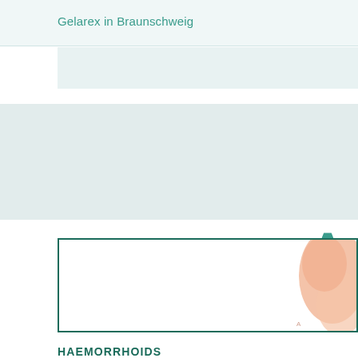Gelarex in Braunschweig
[Figure (illustration): Large decorative letter A in teal/green color on a light mint/teal background band]
[Figure (illustration): A bordered box with a peach/skin-tone illustration on the right side, likely depicting a medical illustration related to haemorrhoids]
HAEMORRHOIDS